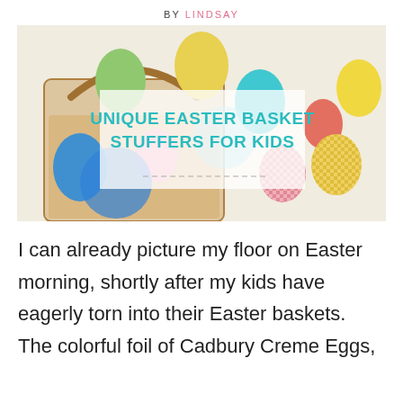BY LINDSAY
[Figure (photo): A basket filled with colorful Easter eggs in various pastel shades — green, yellow, pink, teal, blue, and patterned eggs — with a title overlay reading UNIQUE EASTER BASKET STUFFERS FOR KIDS in teal uppercase text on a semi-transparent white background.]
UNIQUE EASTER BASKET STUFFERS FOR KIDS
I can already picture my floor on Easter morning, shortly after my kids have eagerly torn into their Easter baskets. The colorful foil of Cadbury Creme Eggs,